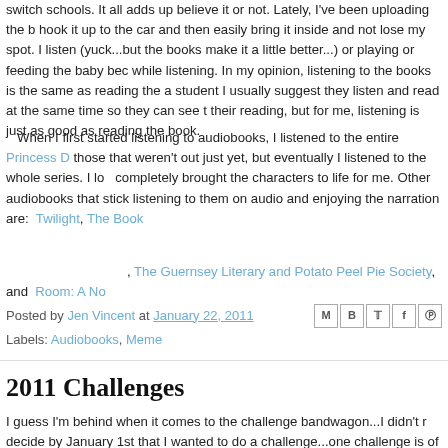switch schools.  It all adds up believe it or not.  Lately, I've been uploading the b hook it up to the car and then easily bring it inside and not lose my spot.  I listen (yuck...but the books make it a little better...) or playing or feeding the baby bec while listening.  In my opinion, listening to the books is the same as reading the a student I usually suggest they listen and read at the same time so they can see t their reading, but for me, listening is just as good as reading the book.
When I first started listening to audiobooks, I listened to the entire Princess D those that weren't out just yet, but eventually I listened to the whole series.  I lo completely brought the characters to life for me.  Other audiobooks that stick listening to them on audio and enjoying the narration are:  Twilight, The Book
, The Guernsey Literary and Potato Peel Pie Society, and  Room: A No
Posted by Jen Vincent at January 22, 2011
Labels: Audiobooks, Meme
2011 Challenges
I guess I'm behind when it comes to the challenge bandwagon...I didn't r decide by January 1st that I wanted to do a challenge...one challenge is of January, sheesh.